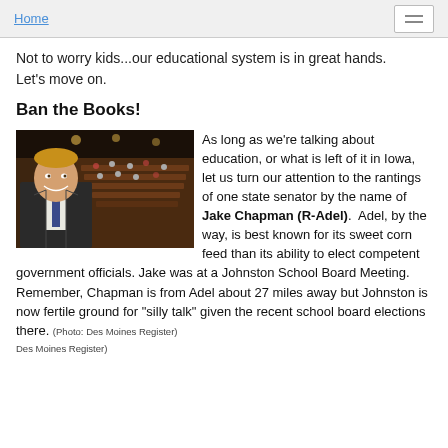Home
Not to worry kids...our educational system is in great hands. Let's move on.
Ban the Books!
[Figure (photo): Man in suit smiling in foreground with a legislative chamber hall visible in the background, taken from an elevated angle.]
As long as we're talking about education, or what is left of it in Iowa, let us turn our attention to the rantings of one state senator by the name of Jake Chapman (R-Adel). Adel, by the way, is best known for its sweet corn feed than its ability to elect competent government officials. Jake was at a Johnston School Board Meeting. Remember, Chapman is from Adel about 27 miles away but Johnston is now fertile ground for "silly talk" given the recent school board elections there.
(Photo: Des Moines Register)